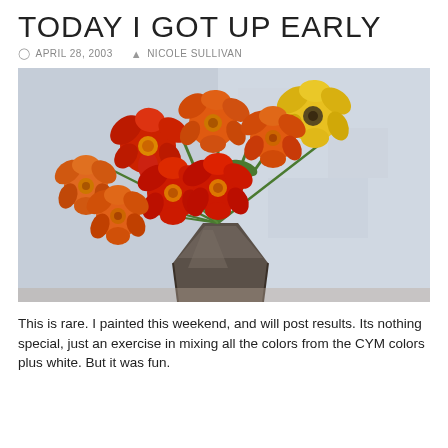TODAY I GOT UP EARLY
APRIL 28, 2003   NICOLE SULLIVAN
[Figure (illustration): A painting of a bouquet of red, orange, and yellow poppies in a dark vase against a light blue-grey textured background.]
This is rare. I painted this weekend, and will post results. Its nothing special, just an exercise in mixing all the colors from the CYM colors plus white. But it was fun.